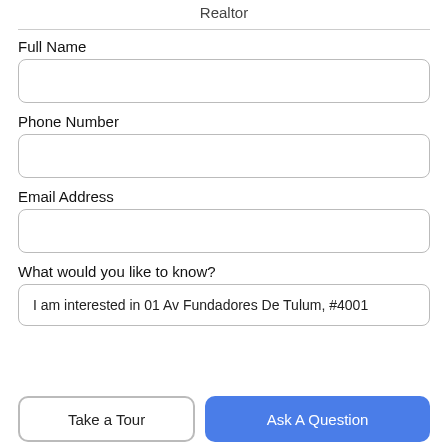Realtor
Full Name
Phone Number
Email Address
What would you like to know?
I am interested in 01 Av Fundadores De Tulum, #4001
Take a Tour
Ask A Question